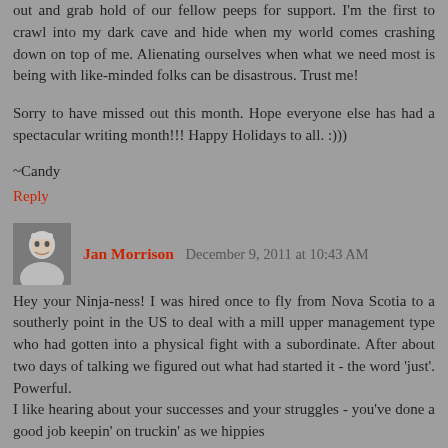out and grab hold of our fellow peeps for support. I'm the first to crawl into my dark cave and hide when my world comes crashing down on top of me. Alienating ourselves when what we need most is being with like-minded folks can be disastrous. Trust me!
Sorry to have missed out this month. Hope everyone else has had a spectacular writing month!!! Happy Holidays to all. :)))
~Candy
Reply
Jan Morrison  December 9, 2011 at 10:43 AM
Hey your Ninja-ness! I was hired once to fly from Nova Scotia to a southerly point in the US to deal with a mill upper management type who had gotten into a physical fight with a subordinate. After about two days of talking we figured out what had started it - the word 'just'. Powerful. I like hearing about your successes and your struggles - you've done a good job keepin' on truckin' as we hippies